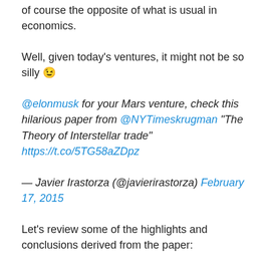of course the opposite of what is usual in economics.
Well, given today's ventures, it might not be so silly 😉
@elonmusk for your Mars venture, check this hilarious paper from @NYTimeskrugman "The Theory of Interstellar trade" https://t.co/5TG58aZDpz
— Javier Irastorza (@javierirastorza) February 17, 2015
Let's review some of the highlights and conclusions derived from the paper:
To start with, he sets some fundamental considerations:
There are two major features distinguishing interstellar trade from the interplanetary trade we are accustomed to. The first is that the time spent in transit will be very great, since travel must occur at less than the light speed; round